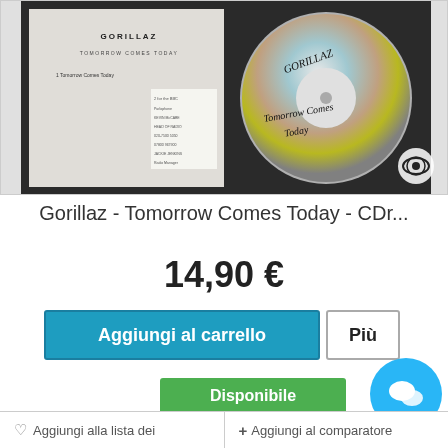[Figure (photo): Photo of Gorillaz - Tomorrow Comes Today CD promo single showing booklet with track listing and bare CD disc with handwritten text 'Tomorrow Comes Today']
Gorillaz - Tomorrow Comes Today - CDr...
14,90 €
Aggiungi al carrello
Più
Disponibile
♡ Aggiungi alla lista dei
+ Aggiungi al comparatore